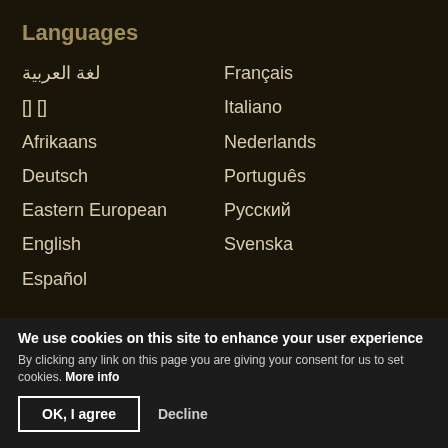Languages
لغة العربية
🇨🇳
Afrikaans
Deutsch
Eastern European
English
Español
Français
Italiano
Nederlands
Português
Русский
Svenska
International offices
Australia
British Isles
Canada
Caribbean
France
Germany
Latin America
Netherlands
New Zealand
Nigeria
Philippines
South Africa
We use cookies on this site to enhance your user experience
By clicking any link on this page you are giving your consent for us to set cookies. More info
OK, I agree   Decline